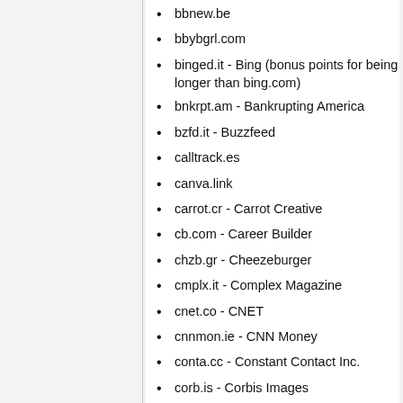bbnew.be
bbybgrl.com
binged.it - Bing (bonus points for being longer than bing.com)
bnkrpt.am - Bankrupting America
bzfd.it - Buzzfeed
calltrack.es
canva.link
carrot.cr - Carrot Creative
cb.com - Career Builder
chzb.gr - Cheezeburger
cmplx.it - Complex Magazine
cnet.co - CNET
cnnmon.ie - CNN Money
conta.cc - Constant Contact Inc.
corb.is - Corbis Images
cot.ag
cpurl.net - Current Photographer.com
curbed.cc - Curbed.com